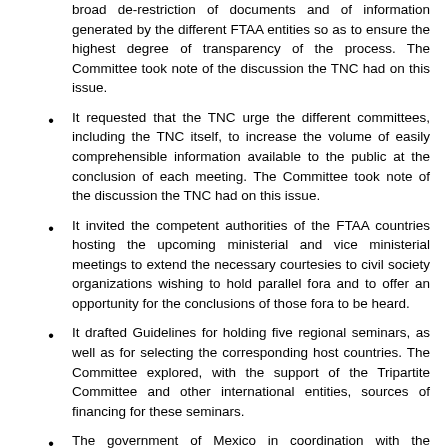broad de-restriction of documents and of information generated by the different FTAA entities so as to ensure the highest degree of transparency of the process. The Committee took note of the discussion the TNC had on this issue.
It requested that the TNC urge the different committees, including the TNC itself, to increase the volume of easily comprehensible information available to the public at the conclusion of each meeting. The Committee took note of the discussion the TNC had on this issue.
It invited the competent authorities of the FTAA countries hosting the upcoming ministerial and vice ministerial meetings to extend the necessary courtesies to civil society organizations wishing to hold parallel fora and to offer an opportunity for the conclusions of those fora to be heard.
It drafted Guidelines for holding five regional seminars, as well as for selecting the corresponding host countries. The Committee explored, with the support of the Tripartite Committee and other international entities, sources of financing for these seminars.
The government of Mexico in coordination with the governments of Canada and United States hosted a regional seminar for North America for public discussion on the FTAA on 18 July 2002, in Merida, Mexico. A summary report, prepared by the organizers, of this